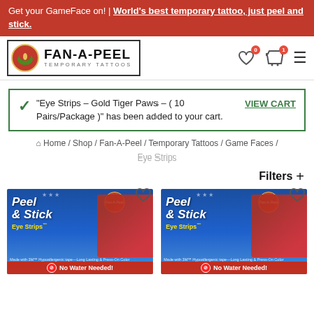Get your GameFace on! | World's best temporary tattoo, just peel and stick.
[Figure (logo): Fan-A-Peel Temporary Tattoos logo with circular emblem and brand name]
“Eye Strips – Gold Tiger Paws – ( 10 Pairs/Package )” has been added to your cart.
VIEW CART
Home / Shop / Fan-A-Peel / Temporary Tattoos / Game Faces / Eye Strips
Filters +
[Figure (photo): Fan-A-Peel Peel & Stick Eye Strips product package with No Water Needed label]
[Figure (photo): Fan-A-Peel Peel & Stick Eye Strips product package with No Water Needed label (second)]